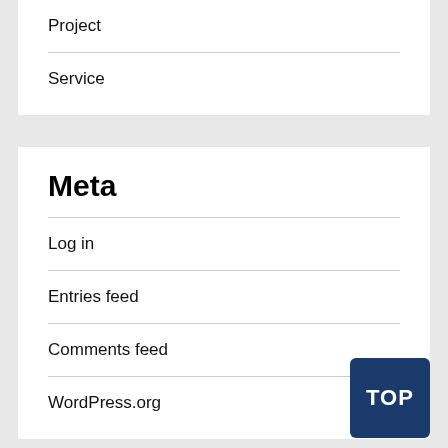Project
Service
Meta
Log in
Entries feed
Comments feed
WordPress.org